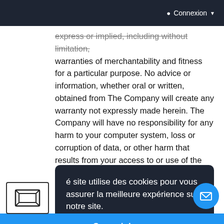Connexion
express or implied, including without limitation, warranties of merchantability and fitness for a particular purpose. No advice or information, whether oral or written, obtained from The Company will create any warranty not expressly made herein. The Company will have no responsibility for any harm to your computer system, loss or corruption of data, or other harm that results from your access to or use of the Services.
[Figure (other): Cookie consent banner overlay with dark background containing text in French about cookies and a blue Compris! button. Also contains a selection/crop icon in the left sidebar and a mail circle button.]
Dooninet with any third party that assumes our rights